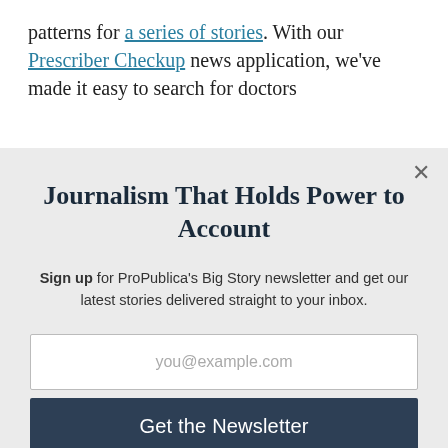patterns for a series of stories. With our Prescriber Checkup news application, we've made it easy to search for doctors
Journalism That Holds Power to Account
Sign up for ProPublica's Big Story newsletter and get our latest stories delivered straight to your inbox.
you@example.com
Get the Newsletter
No thanks, I'm all set
This site is protected by reCAPTCHA and the Google Privacy Policy and Terms of Service apply.